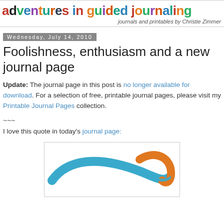adventures in guided journaling
journals and printables by Christie Zimmer
Wednesday, July 14, 2010
Foolishness, enthusiasm and a new journal page
Update: The journal page in this post is no longer available for download. For a selection of free, printable journal pages, please visit my Printable Journal Pages collection.
~~~
I love this quote in today's journal page:
[Figure (illustration): Decorative swirl design with a blue curved swoosh and an orange curved hook, partially visible at bottom of page]